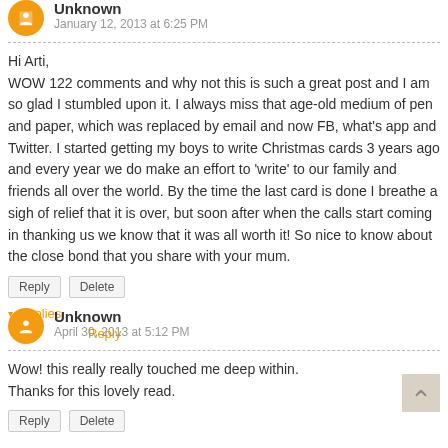Unknown
January 12, 2013 at 6:25 PM
Hi Arti,
WOW 122 comments and why not this is such a great post and I am so glad I stumbled upon it. I always miss that age-old medium of pen and paper, which was replaced by email and now FB, what's app and Twitter. I started getting my boys to write Christmas cards 3 years ago and every year we do make an effort to 'write' to our family and friends all over the world. By the time the last card is done I breathe a sigh of relief that it is over, but soon after when the calls start coming in thanking us we know that it was all worth it! So nice to know about the close bond that you share with your mum.
Reply
Delete
▾ Replies
Reply
Unknown
April 30, 2013 at 5:12 PM
Wow! this really really touched me deep within.
Thanks for this lovely read.
Reply
Delete